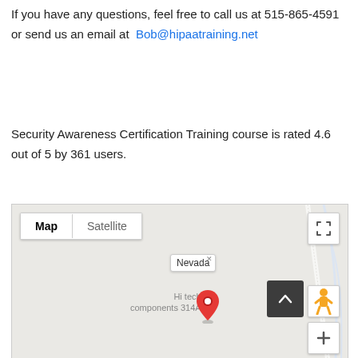If you have any questions, feel free to call us at 515-865-4591 or send us an email at Bob@hipaatraining.net
Security Awareness Certification Training course is rated 4.6 out of 5 by 361 users.
[Figure (map): Google Maps embed showing a map view with Map/Satellite toggle buttons, a location pin labeled 'Nevada' with a popup, and 'Hi tech components 314A' label near the pin. Controls include fullscreen, street view (pegman), zoom up chevron, and zoom plus buttons.]